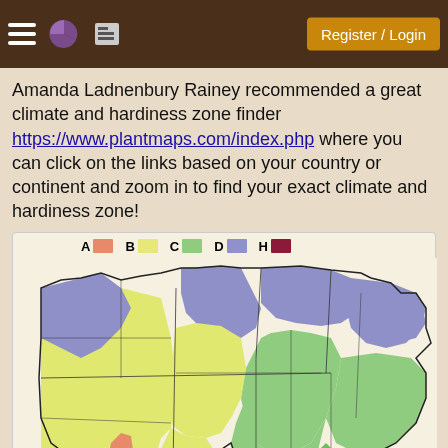Register / Login
Amanda Ladnenbury Rainey recommended a great climate and hardiness zone finder https://www.plantmaps.com/index.php where you can click on the links based on your country or continent and zoom in to find your exact climate and hardiness zone!
[Figure (map): Koppen Climate Zones map of the United States showing climate zones A (orange), B (yellow), C (green), D (purple), H (dark red/maroon). The western US shows mostly B (yellow) and D (purple) zones, the northern US and Great Lakes region shows D (purple), the eastern and southern US shows C (green), with small areas of A and H.]
Koppen Climate Zones
(source)